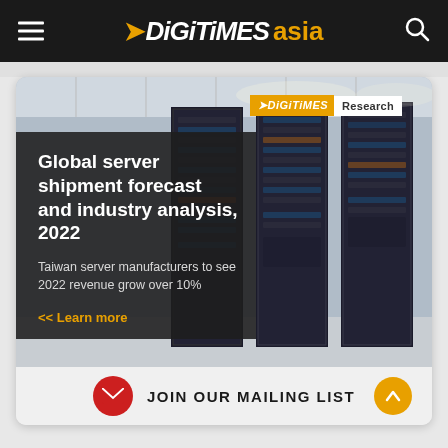DIGITIMES asia
[Figure (screenshot): DIGITIMES Research promotional banner showing server racks in a data center with text overlay: 'Global server shipment forecast and industry analysis, 2022' and subtitle 'Taiwan server manufacturers to see 2022 revenue grow over 10%' with a '<<  Learn more' link in orange]
JOIN OUR MAILING LIST